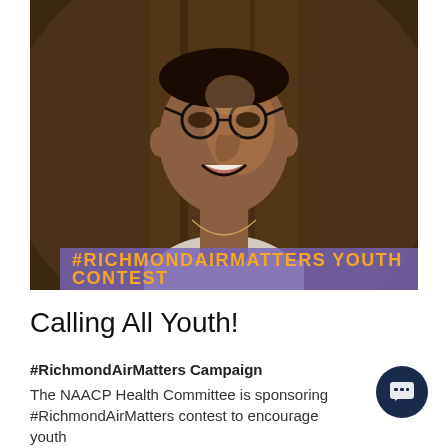[Figure (photo): Smiling young man wearing round glasses and a white shirt with a gold necklace, photographed in front of a tree. A purple banner overlay reads '#RICHMONDAIRMATTERS YOUTH CONTEST' in orange bold text.]
Calling All Youth!
#RichmondAirMatters Campaign
The NAACP Health Committee is sponsoring #RichmondAirMatters contest to encourage youth